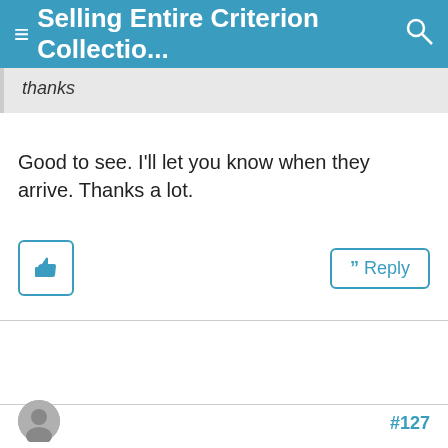≡ Selling Entire Criterion Collectio... 🔍
thanks
Good to see. I'll let you know when they arrive. Thanks a lot.
#127